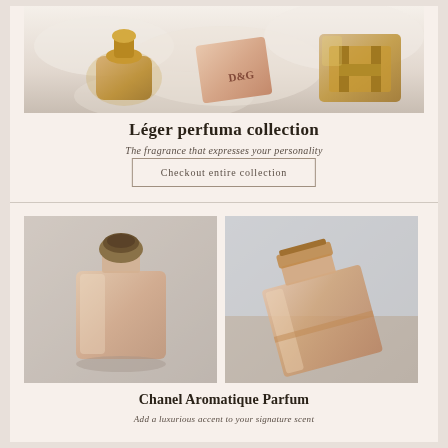[Figure (photo): Photo of multiple luxury perfume bottles (D&G and others) arranged on a fluffy white fur surface]
Léger perfuma collection
The fragrance that expresses your personality
Checkout entire collection
[Figure (photo): Close-up photo of a small square perfume bottle with a round gold cap, warm rose/amber color liquid]
[Figure (photo): Close-up photo of a Chanel-style perfume bottle with clear glass and warm rose gold liquid, tilted angle]
Chanel Aromatique Parfum
Add a luxurious accent to your signature scent